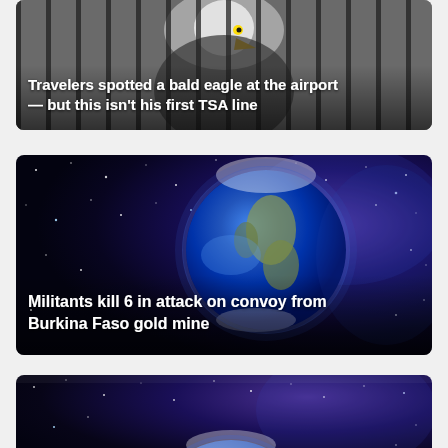[Figure (photo): A bald eagle in a cage/carrier at an airport, dark bars visible, eagle's white head and yellow beak visible at top center]
Travelers spotted a bald eagle at the airport — but this isn't his first TSA line
[Figure (photo): Earth seen from space against a deep blue/purple starry cosmos background, large planet visible center-right]
Militants kill 6 in attack on convoy from Burkina Faso gold mine
[Figure (photo): Earth seen from space against a deep blue/purple starry cosmos background, partially visible at the bottom of the page]